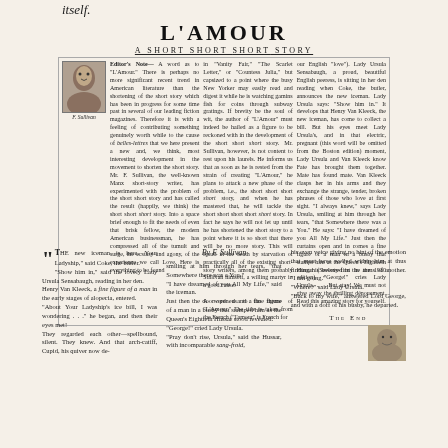itself.
L'AMOUR
A SHORT SHORT SHORT STORY
Editor's Note— A word as to "L'Amour." There is perhaps no more significant recent trend in American literature than the shortening of the short story which has been in progress for some time past in several of our leading fiction magazines...
"THE new iceman is here, Your Ladyship," said Coke, the butler...
By F. Sullivan
smiling at him through her tears, "that Somewhere there was a You."...
his even voice giving no hint of the emotion that must have welled within him at thus finding his beloved in the arms of another. "I am going."...
THE END